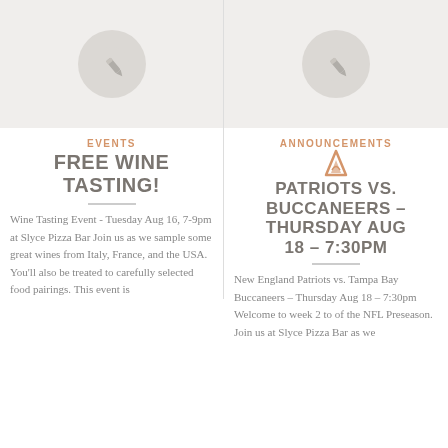[Figure (illustration): Left placeholder image box with a gray circle containing a pencil/edit icon]
[Figure (illustration): Right placeholder image box with a gray circle containing a pencil/edit icon]
EVENTS
FREE WINE TASTING!
ANNOUNCEMENTS
PATRIOTS VS. BUCCANEERS – THURSDAY AUG 18 – 7:30PM
Wine Tasting Event - Tuesday Aug 16, 7-9pm at Slyce Pizza Bar Join us as we sample some great wines from Italy, France, and the USA. You'll also be treated to carefully selected food pairings. This event is
New England Patriots vs. Tampa Bay Buccaneers – Thursday Aug 18 – 7:30pm Welcome to week 2 to of the NFL Preseason. Join us at Slyce Pizza Bar as we